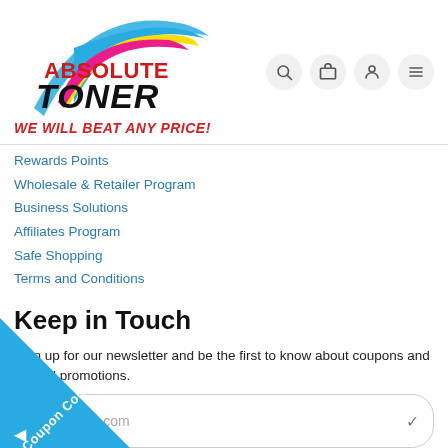[Figure (logo): Absolute Toner logo with colorful arc (cyan, yellow, magenta) swoosh and bold text 'ABSOLUTE TONER' with tagline 'WE WILL BEAT ANY PRICE!']
Rewards Points
Wholesale & Retailer Program
Business Solutions
Affiliates Program
Safe Shopping
Terms and Conditions
Keep in Touch
Sign up for our newsletter and be the first to know about coupons and special promotions.